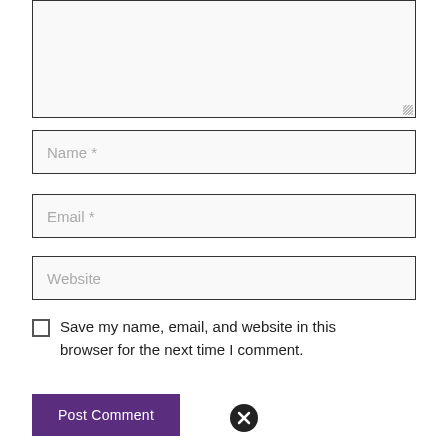[Figure (screenshot): Comment form textarea (empty, large input box with resize handle)]
Name *
Email *
Website
Save my name, email, and website in this browser for the next time I comment.
Post Comment
[Figure (other): Black circle with white X (close button)]